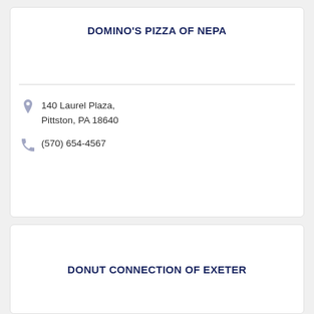DOMINO'S PIZZA OF NEPA
140 Laurel Plaza, Pittston, PA 18640
(570) 654-4567
DONUT CONNECTION OF EXETER